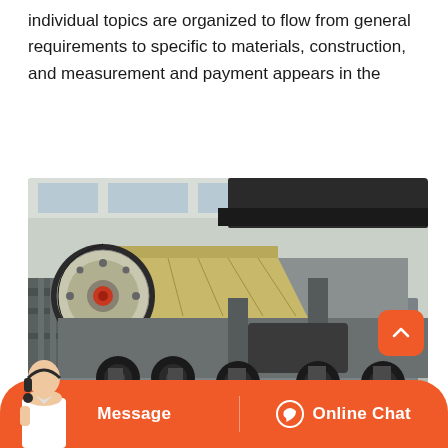individual topics are organized to flow from general requirements to specific to materials, construction, and measurement and payment appears in the
[Figure (photo): Industrial jaw crusher / mobile crushing machine on heavy-duty tracked or wheeled undercarriage, inside an industrial building. The machine is large, grey and beige/yellow in color, with a large flywheel visible on the left side and rubber tires/tracks visible at the bottom.]
Message
Online Chat